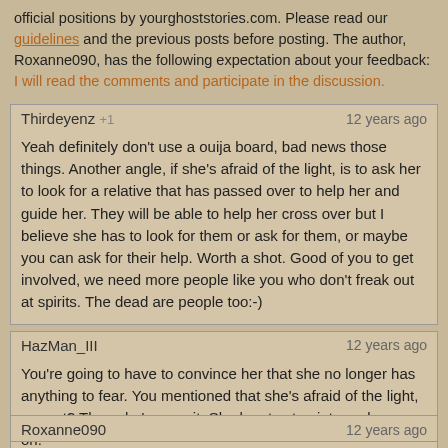The following comments are submitted by users of this site and are not official positions by yourghoststories.com. Please read our guidelines and the previous posts before posting. The author, Roxanne090, has the following expectation about your feedback: I will read the comments and participate in the discussion.
Thirdeyenz +1 | 12 years ago
Yeah definitely don't use a ouija board, bad news those things. Another angle, if she's afraid of the light, is to ask her to look for a relative that has passed over to help her and guide her. They will be able to help her cross over but I believe she has to look for them or ask for them, or maybe you can ask for their help. Worth a shot. Good of you to get involved, we need more people like you who don't freak out at spirits. The dead are people too:-)
HazMan_III | 12 years ago
You're going to have to convince her that she no longer has anything to fear. You mentioned that she's afraid of the light, correct? Then she's seen it. She has to step into and move on.
Roxanne090 | 12 years ago